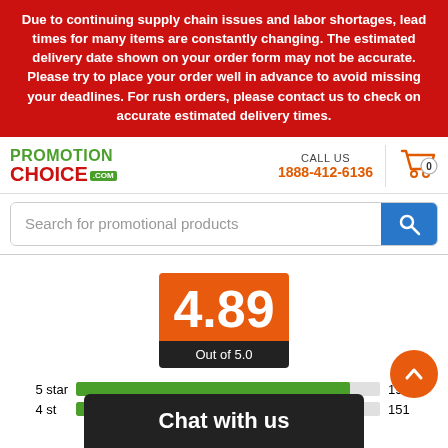Due to continuing supply chain issues and labor shortages, lead times for many items are constantly changing. The estimated delivery date shown on your order form may not be accurate. Please try to place your order well in advance to avoid missing your deadlines. For rush orders, please contact us to check on accurate estimated delivery times.
[Figure (logo): PromotionChoice.com logo in green and red]
CALL US
1888-412-6136
[Figure (illustration): Shopping cart icon with 0 count]
Search for promotional products
[Figure (infographic): Rating score 4.89 Out of 5.0 in orange box]
[Figure (bar-chart): Star ratings breakdown]
Chat with us